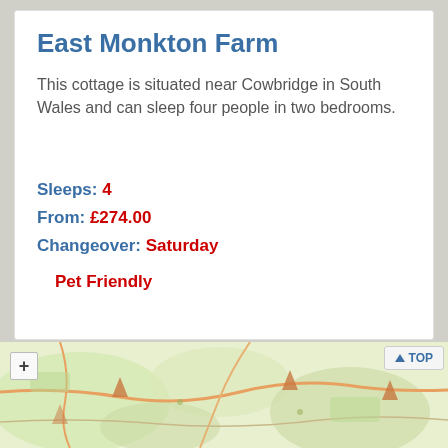East Monkton Farm
This cottage is situated near Cowbridge in South Wales and can sleep four people in two bedrooms.
Sleeps: 4
From: £274.00
Changeover: Saturday
Pet Friendly
[Figure (map): Topographic map showing the area near Cowbridge, South Wales, with terrain features, roads, and a zoom control button. A 'TOP' navigation button appears in the upper right of the map area.]